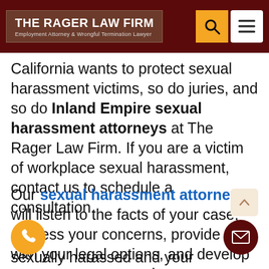THE RAGER LAW FIRM — Employment Attorney & Wrongful Termination Lawyer
California wants to protect sexual harassment victims, so do juries, and so do Inland Empire sexual harassment attorneys at The Rager Law Firm. If you are a victim of workplace sexual harassment, contact us to schedule a consultation.
Our sexual harassment attorneys will listen to the facts of your case, address your concerns, provide you with your legal options, and develop a strategy to ensure that your workplace harassment is stopped and you are compensated when you have been sexually harassed and your employer has failed to protect you. When you have...